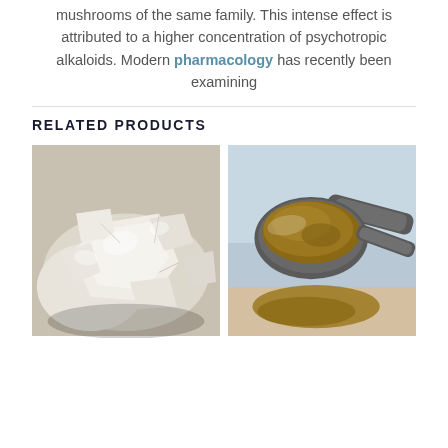mushrooms of the same family. This intense effect is attributed to a higher concentration of psychotropic alkaloids. Modern pharmacology has recently been examining
RELATED PRODUCTS
[Figure (photo): Close-up photo of white/cream crystalline chunks or clusters of a granular substance on a surface]
[Figure (photo): Photo of a metal measuring spoon filled with brown powder, spilling onto a light surface]